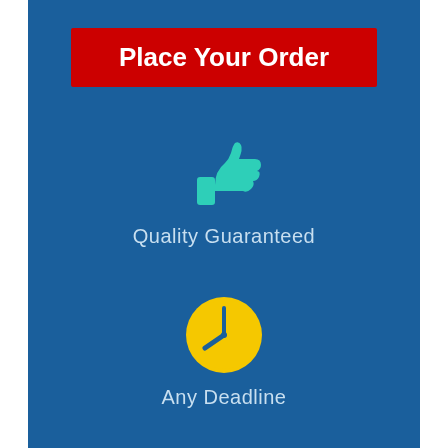Place Your Order
[Figure (illustration): Teal thumbs up icon]
Quality Guaranteed
[Figure (illustration): Yellow clock icon]
Any Deadline
[Figure (illustration): Red circle icon (partially visible at bottom)]